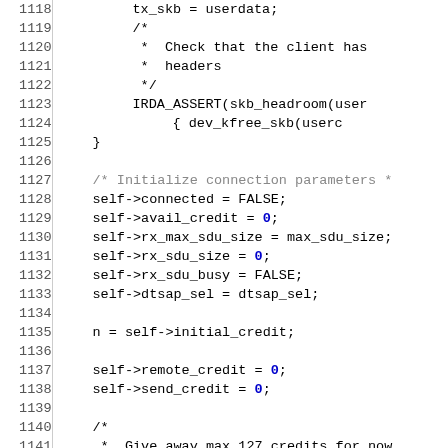[Figure (screenshot): Source code listing showing C code lines 1118-1145, including IrDA socket initialization with comments, assertions, and credit management logic.]